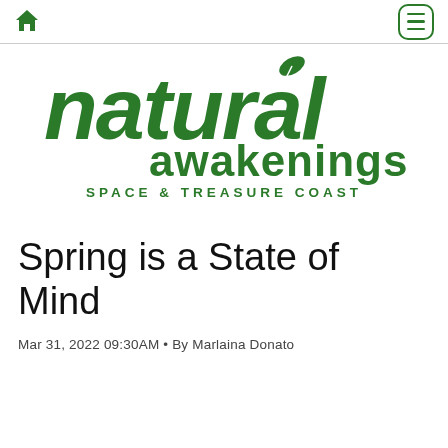Home | Menu
[Figure (logo): Natural Awakenings Space & Treasure Coast logo in green]
Spring is a State of Mind
Mar 31, 2022 09:30AM • By Marlaina Donato